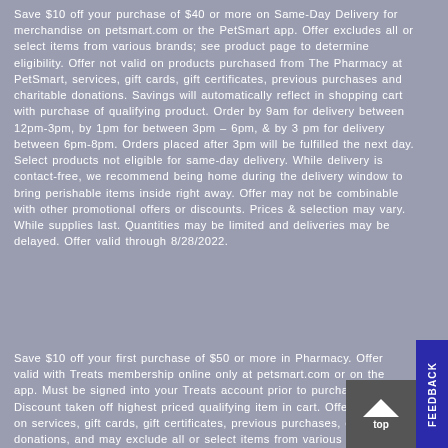Save $10 off your purchase of $40 or more on Same-Day Delivery for merchandise on petsmart.com or the PetSmart app. Offer excludes all or select items from various brands; see product page to determine eligibility. Offer not valid on products purchased from The Pharmacy at PetSmart, services, gift cards, gift certificates, previous purchases and charitable donations. Savings will automatically reflect in shopping cart with purchase of qualifying product. Order by 9am for delivery between 12pm-3pm, by 1pm for between 3pm – 6pm, & by 3 pm for delivery between 6pm-8pm. Orders placed after 3pm will be fulfilled the next day. Select products not eligible for same-day delivery. While delivery is contact-free, we recommend being home during the delivery window to bring perishable items inside right away. Offer may not be combinable with other promotional offers or discounts. Prices & selection may vary. While supplies last. Quantities may be limited and deliveries may be delayed. Offer valid through 8/28/2022.
Save $10 off your first purchase of $50 or more in Pharmacy. Offer valid with Treats membership online only at petsmart.com or on the app. Must be signed into your Treats account prior to purchase. Discount taken off highest priced qualifying item in cart. Offer not valid on services, gift cards, gift certificates, previous purchases, charitable donations, and may exclude all or select items from various brands. Offer may not be combined with other